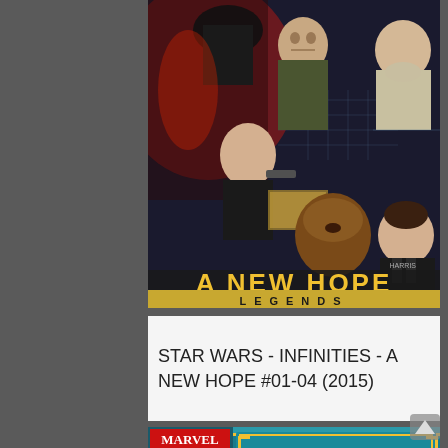[Figure (illustration): Star Wars - Infinities - A New Hope comic book cover showing characters including Darth Vader, Grand Moff Tarkin, Princess Leia, Chewbacca, Han Solo, and Obi-Wan Kenobi with the text 'A NEW HOPE' in yellow and 'LEGENDS' on a gold banner]
STAR WARS - INFINITIES - A NEW HOPE #01-04 (2015)
[Figure (illustration): Marvel Star Wars: The Return of Tag & Bink comic book cover #1 showing the title in bold yellow and red letters on a blue background with decorative border]